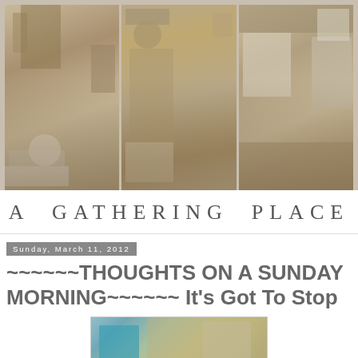[Figure (photo): Triptych of three sepia-toned vintage photographs showing antique/vintage shop scenes: left panel shows flowers in a vase, dishes, and furniture; middle panel shows a woman in vintage dress and hat; right panel shows lace fabrics and vintage wares]
A GATHERING PLACE
Sunday, March 11, 2012
~~~~~~THOUGHTS ON A SUNDAY MORNING~~~~~~ It's Got To Stop
[Figure (photo): Partial photo showing what appears to be a street or parking lot scene with a white vehicle and buildings in a washed-out color photograph]